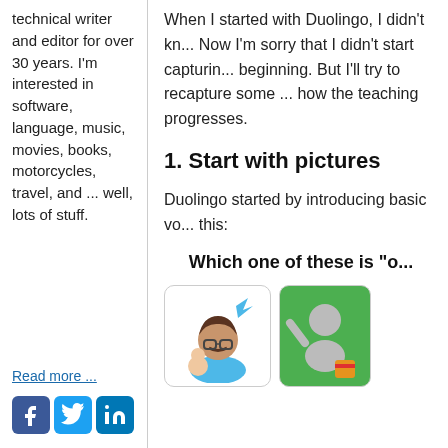technical writer and editor for over 30 years. I'm interested in software, language, music, movies, books, motorcycles, travel, and ... well, lots of stuff.
Read more ...
[Figure (infographic): Social media icons: Facebook, Twitter, LinkedIn]
When I started with Duolingo, I didn't kn... Now I'm sorry that I didn't start capturin... beginning. But I'll try to recapture some ... how the teaching progresses.
1. Start with pictures
Duolingo started by introducing basic vo... this:
Which one of these is "o..."
[Figure (illustration): Two Duolingo exercise cards showing cartoon characters for vocabulary picture selection exercise]